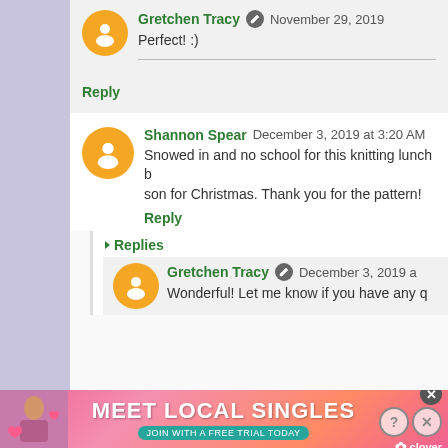Gretchen Tracy · November 29, 2019 · Perfect! :)
Reply
Shannon Spear December 3, 2019 at 3:20 AM · Snowed in and no school for this knitting lunch b... son for Christmas. Thank you for the pattern!
Reply
Replies
Gretchen Tracy · December 3, 2019 a... · Wonderful! Let me know if you have any q...
[Figure (screenshot): Advertisement banner: MEET LOCAL SINGLES - JOIN WITH A FREE TRIAL TODAY - Clover app ad with photo of woman and heart emojis]